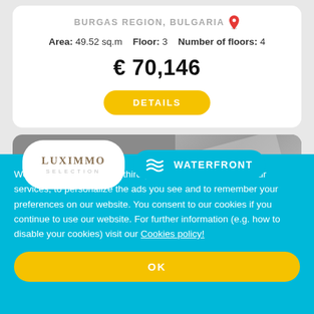BURGAS REGION, BULGARIA
Area: 49.52 sq.m   Floor: 3   Number of floors: 4
€ 70,146
DETAILS
[Figure (logo): LUXIMMO SELECTION logo badge and WATERFRONT badge on grey card]
We use cookies including third-party cookies, to improve our services, to personalize the ads you see and to remember your preferences on our website. You consent to our cookies if you continue to use our website. For further information (e.g. how to disable your cookies) visit our Cookies policy!
OK